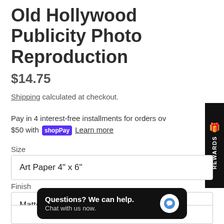Old Hollywood Publicity Photo Reproduction
$14.75
Shipping calculated at checkout.
Pay in 4 interest-free installments for orders over $50 with Shop Pay  Learn more
Size
Art Paper 4" x 6"
Finish
Matte
REWARDS
Questions? We can help. Chat with us now.